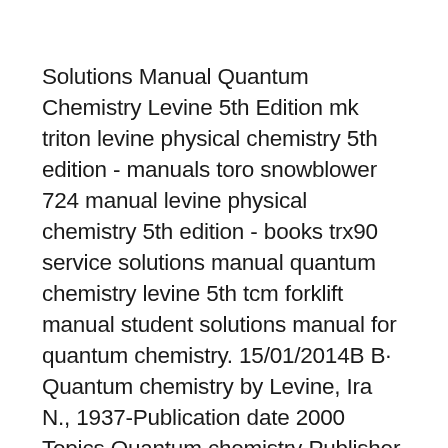Solutions Manual Quantum Chemistry Levine 5th Edition mk triton levine physical chemistry 5th edition - manuals toro snowblower 724 manual levine physical chemistry 5th edition - books trx90 service solutions manual quantum chemistry levine 5th tcm forklift manual student solutions manual for quantum chemistry. 15/01/2014B B· Quantum chemistry by Levine, Ira N., 1937-Publication date 2000 Topics Quantum chemistry Publisher Upper Saddle River, N.J. : Prentice Hall Collection inlibrary; printdisabled; internetarchivebooks; toronto Digitizing sponsor Internet Archive Contributor Internet Archive Language English.